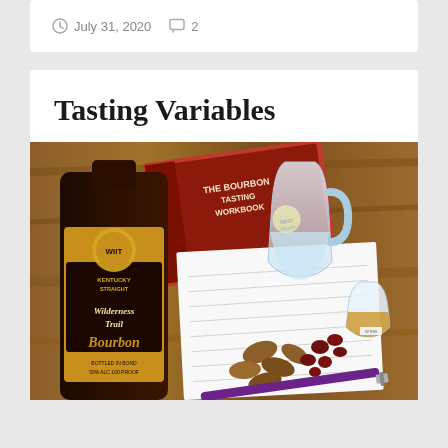July 31, 2020   2
Tasting Variables
[Figure (photo): A flat-lay photo on a wooden table showing a bottle of Wilderness Trail Kentucky Straight Bourbon Whiskey, a Bourbon Tasting Workbook, tasting glasses with water and bourbon, nuts and dried cranberries, a tasting sheet/notepad, and a purple pen.]